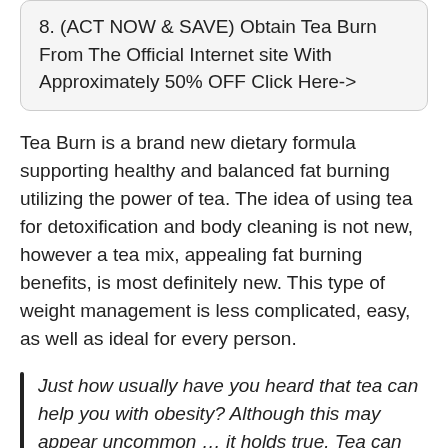8. (ACT NOW & SAVE) Obtain Tea Burn From The Official Internet site With Approximately 50% OFF Click Here->
Tea Burn is a brand new dietary formula supporting healthy and balanced fat burning utilizing the power of tea. The idea of using tea for detoxification and body cleaning is not new, however a tea mix, appealing fat burning benefits, is most definitely new. This type of weight management is less complicated, easy, as well as ideal for every person.
Just how usually have you heard that tea can help you with obesity? Although this may appear uncommon … it holds true. Tea can aid you slim down when utilized appropriately.